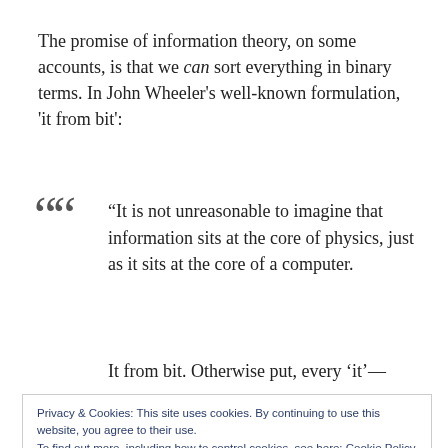The promise of information theory, on some accounts, is that we can sort everything in binary terms. In John Wheeler's well-known formulation, 'it from bit':
“It is not unreasonable to imagine that information sits at the core of physics, just as it sits at the core of a computer.
It from bit. Otherwise put, every ‘it’—every
Privacy & Cookies: This site uses cookies. By continuing to use this website, you agree to their use.
To find out more, including how to control cookies, see here: Cookie Policy